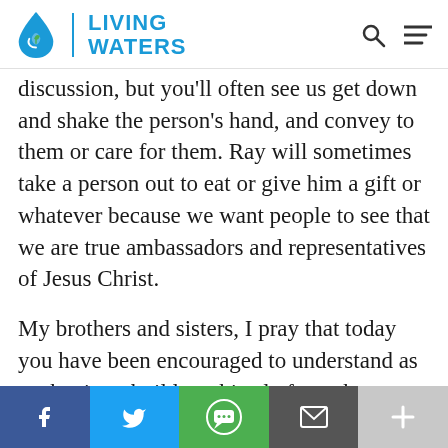LIVING WATERS
discussion, but you'll often see us get down and shake the person's hand, and convey to them or care for them. Ray will sometimes take a person out to eat or give him a gift or whatever because we want people to see that we are true ambassadors and representatives of Jesus Christ.
My brothers and sisters, I pray that today you have been encouraged to understand as we begin to build on this platform that